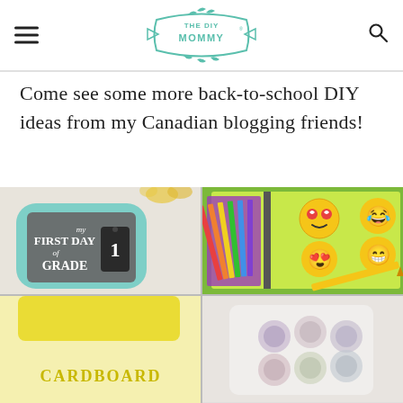THE DIY MOMMY
Come see some more back-to-school DIY ideas from my Canadian blogging friends!
[Figure (photo): A chalkboard sign reading 'My First Day of Grade 1' with a teal decorative frame and yellow flowers in background]
[Figure (photo): Colorful spiral notebooks with emoji stickers and colored pencils, with a yellow pencil on top]
[Figure (photo): Yellow fabric or paper item, partially visible at bottom left]
[Figure (photo): A bag or pouch with owl or circular figure designs, partially visible at bottom right]